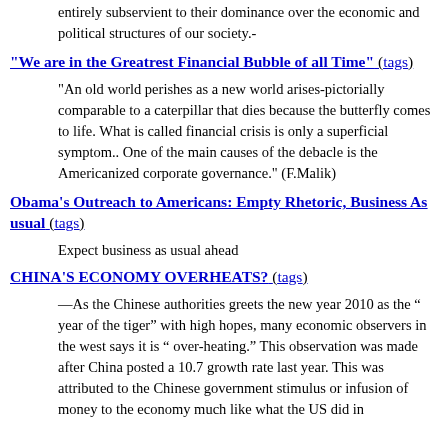entirely subservient to their dominance over the economic and political structures of our society.-
"We are in the Greatrest Financial Bubble of all Time" (tags)
"An old world perishes as a new world arises-pictorially comparable to a caterpillar that dies because the butterfly comes to life. What is called financial crisis is only a superficial symptom.. One of the main causes of the debacle is the Americanized corporate governance." (F.Malik)
Obama's Outreach to Americans: Empty Rhetoric, Business As usual (tags)
Expect business as usual ahead
CHINA'S ECONOMY OVERHEATS? (tags)
—As the Chinese authorities greets the new year 2010 as the “ year of the tiger” with high hopes, many economic observers in the west says it is “ over-heating.” This observation was made after China posted a 10.7 growth rate last year. This was attributed to the Chinese government stimulus or infusion of money to the economy much like what the US did in